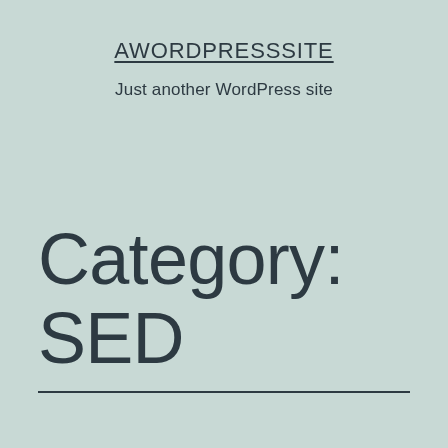AWORDPRESSSITE
Just another WordPress site
Category: SED